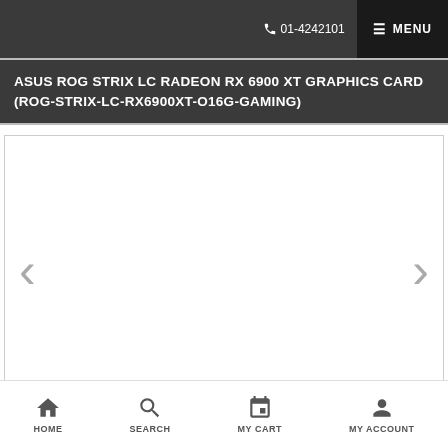01-4242101  MENU
ASUS ROG STRIX LC RADEON RX 6900 XT GRAPHICS CARD (ROG-STRIX-LC-RX6900XT-O16G-GAMING)
[Figure (photo): Product image slider area with left and right navigation arrows, currently showing a blank/white product image area]
HOME  SEARCH  MY CART  MY ACCOUNT